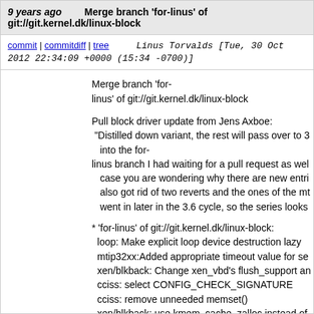9 years ago   Merge branch 'for-linus' of git://git.kernel.dk/linux-block
commit | commitdiff | tree   Linus Torvalds [Tue, 30 Oct 2012 22:34:09 +0000 (15:34 -0700)]
Merge branch 'for-linus' of git://git.kernel.dk/linux-block

Pull block driver update from Jens Axboe:
 "Distilled down variant, the rest will pass over to 3 into the for-
linus branch I had waiting for a pull request as well. In case you are wondering why there are new entries, also got rid of two reverts and the ones of the mti went in later in the 3.6 cycle, so the series looks

* 'for-linus' of git://git.kernel.dk/linux-block:
  loop: Make explicit loop device destruction lazy
  mtip32xx:Added appropriate timeout value for se
  xen/blkback: Change xen_vbd's flush_support an
  cciss: select CONFIG_CHECK_SIGNATURE
  cciss: remove unneeded memset()
  xen/blkback: use kmem_cache_zalloc instead of
  pktcdvd: update MAINTAINERS
  floppy: remove dr, reuse drive on do_floppy_init
  floppy: use common function to check if floppies
  floppy: properly handle failure on add_disk loop
  floppy: do put_disk on current dr if blk_init_queue